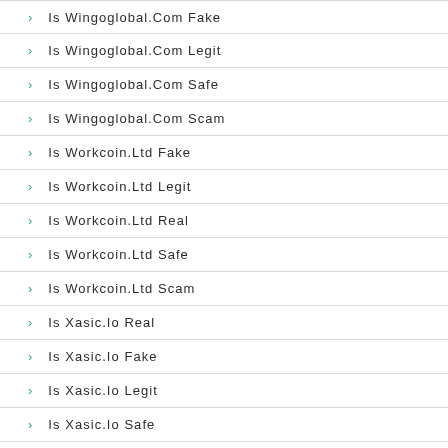Is Wingoglobal.Com Fake
Is Wingoglobal.Com Legit
Is Wingoglobal.Com Safe
Is Wingoglobal.Com Scam
Is Workcoin.Ltd Fake
Is Workcoin.Ltd Legit
Is Workcoin.Ltd Real
Is Workcoin.Ltd Safe
Is Workcoin.Ltd Scam
Is Xasic.Io Real
Is Xasic.Io Fake
Is Xasic.Io Legit
Is Xasic.Io Safe